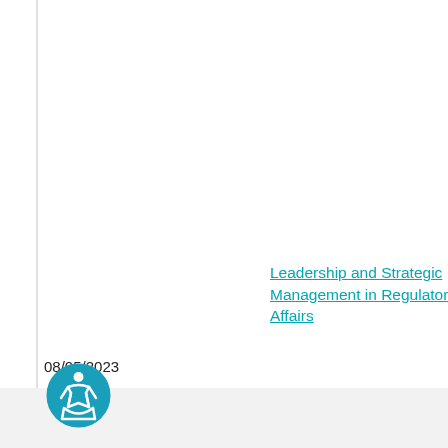08/05/2023
Leadership and Strategic Management in Regulatory Affairs
Masterclass is designed for regulatory affairs professionals to develop their understanding of the management and leadership skills needed to run a successful regulatory affairs department/organisation. The course is designed to be applicable to both drugs and device regulatory affairs by applying the principles taught to your own particular environment. Module 9 of the MSc and Management Regulatory...